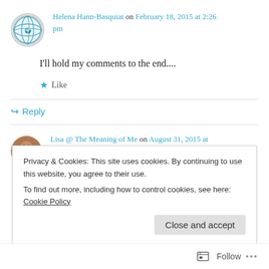Helena Hann-Basquiat on February 18, 2015 at 2:26 pm
I'll hold my comments to the end....
Like
Reply
Lisa @ The Meaning of Me on August 31, 2015 at 10:09 pm
Privacy & Cookies: This site uses cookies. By continuing to use this website, you agree to their use. To find out more, including how to control cookies, see here: Cookie Policy
Close and accept
Follow